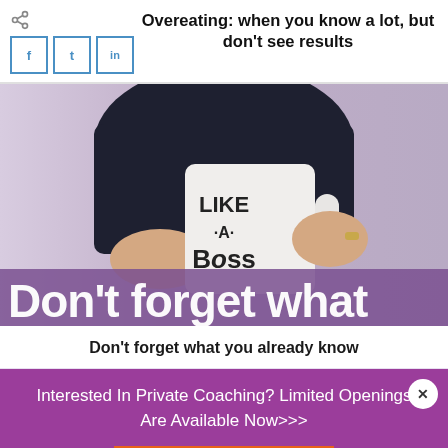Overeating: when you know a lot, but don't see results
[Figure (photo): Person holding a white mug that reads 'LIKE A BOSS' with large white text overlay 'Don't forget what' partially visible at bottom of image]
Don't forget what you already know
Interested In Private Coaching? Limited Openings Are Available Now>>>
Apply Now!